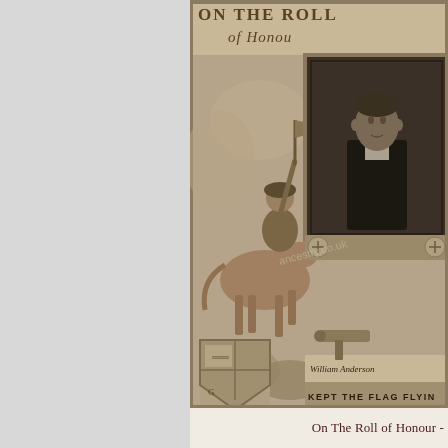[Figure (photo): A historical 'Roll of Honour' certificate or document, sepia-toned. Shows a decorative illustrated background with a mounted soldier/knight figure carrying a flag, military imagery, a coat of arms shield at the bottom left, and an ornate border frame. On the right side is a framed portrait photograph of a young man in a dark suit. Text at the top reads 'On The Roll of Honour' and at the bottom 'KEPT THE FLAG FLYING'. A signature 'William Anderson' is visible. A watermark 'ancestry.co.uk' is overlaid.]
On The Roll of Honour -